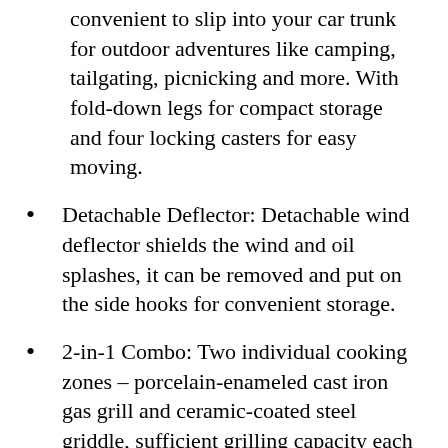convenient to slip into your car trunk for outdoor adventures like camping, tailgating, picnicking and more. With fold-down legs for compact storage and four locking casters for easy moving.
Detachable Deflector: Detachable wind deflector shields the wind and oil splashes, it can be removed and put on the side hooks for convenient storage.
2-in-1 Combo: Two individual cooking zones – porcelain-enameled cast iron gas grill and ceramic-coated steel griddle, sufficient grilling capacity each measures 296 sq. in. and 314 sq. in.